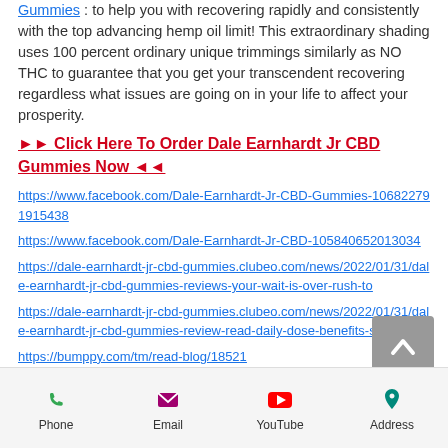Gummies : to help you with recovering rapidly and consistently with the top advancing hemp oil limit! This extraordinary shading uses 100 percent ordinary unique trimmings similarly as NO THC to guarantee that you get your transcendent recovering regardless what issues are going on in your life to affect your prosperity.
►► Click Here To Order Dale Earnhardt Jr CBD Gummies Now ◄◄
https://www.facebook.com/Dale-Earnhardt-Jr-CBD-Gummies-106822791915438
https://www.facebook.com/Dale-Earnhardt-Jr-CBD-105840652013034
https://dale-earnhardt-jr-cbd-gummies.clubeo.com/news/2022/01/31/dale-earnhardt-jr-cbd-gummies-reviews-your-wait-is-over-rush-to
https://dale-earnhardt-jr-cbd-gummies.clubeo.com/news/2022/01/31/dale-earnhardt-jr-cbd-gummies-review-read-daily-dose-benefits-s
https://bumppy.com/tm/read-blog/18521
https://teachin.id/blogs/101613/Dale-Earnhardt-Jr-CBD-
Phone  Email  YouTube  Address